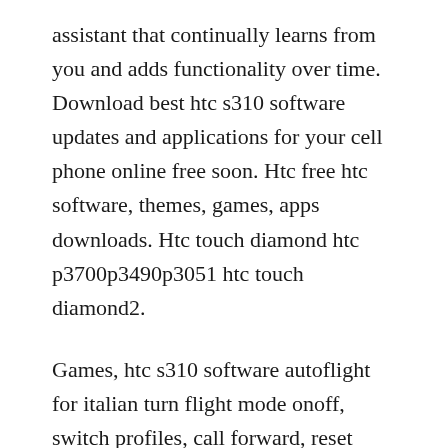assistant that continually learns from you and adds functionality over time. Download best htc s310 software updates and applications for your cell phone online free soon. Htc free htc software, themes, games, apps downloads. Htc touch diamond htc p3700p3490p3051 htc touch diamond2.
Games, htc s310 software autoflight for italian turn flight mode onoff, switch profiles, call forward, reset phone and so on, all of these can be done by autoflight automatically. Reference, htc s310 software phpvexplorer sp